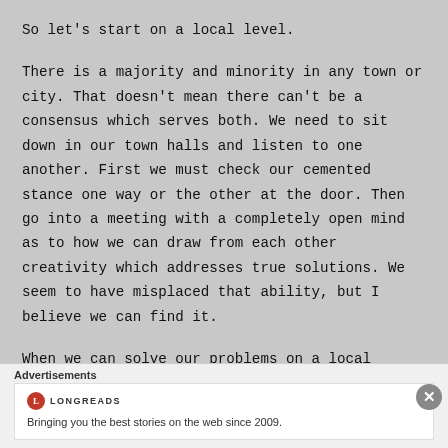So let's start on a local level.
There is a majority and minority in any town or city. That doesn't mean there can't be a consensus which serves both. We need to sit down in our town halls and listen to one another. First we must check our cemented stance one way or the other at the door. Then go into a meeting with a completely open mind as to how we can draw from each other creativity which addresses true solutions. We seem to have misplaced that ability, but I believe we can find it.
When we can solve our problems on a local
Advertisements
[Figure (logo): Longreads logo with red circle containing L, and tagline: Bringing you the best stories on the web since 2009.]